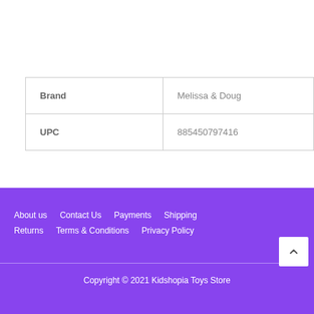| Brand | UPC |
| --- | --- |
| Brand | Melissa & Doug |
| UPC | 885450797416 |
About us   Contact Us   Payments   Shipping   Returns   Terms & Conditions   Privacy Policy
Copyright © 2021 Kidshopia Toys Store